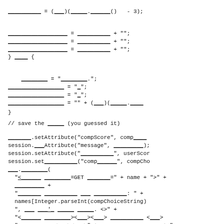_____ = (___)(_____.______() - 3);
______________ = __________ + "";
______________ = __________ + "";
______________ = __________ + "";
} ____ {
________ = "________.:";
_________________ = "-";
_________________ = "-";
_________________ = "" + (___)(_____.____
}
// save the _____ (you guessed it)
_______.setAttribute("compScore", comp____
session.___Attribute("message", _________);
session.setAttribute("__________", userScor
session.set__________("comp______", compCho
___.________(
"<______ ________=GET _______=" + name + ">" +
_________ +
"_______ __________ ___ __________: " +
names[Integer.parseInt(compChoiceString)
", ___ ___'_ _____ _____. <>" +
"<______ ________><___><___> __________ <___> _
"__________ <___><___>" + __________________ + "_